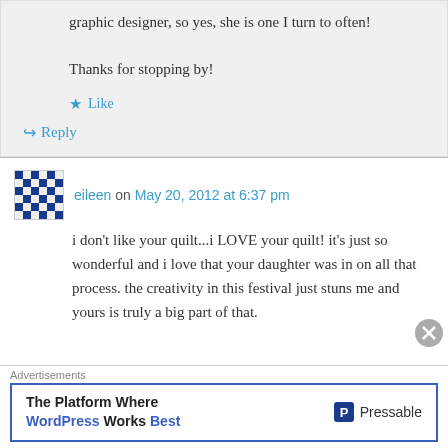graphic designer, so yes, she is one I turn to often!
Thanks for stopping by!
Like
Reply
eileen on May 20, 2012 at 6:37 pm
i don't like your quilt...i LOVE your quilt! it's just so wonderful and i love that your daughter was in on all that process. the creativity in this festival just stuns me and yours is truly a big part of that.
Advertisements
The Platform Where WordPress Works Best